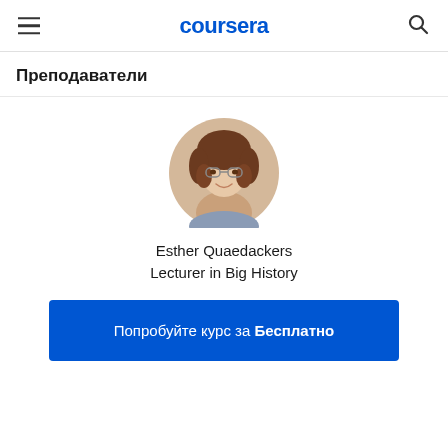coursera
Преподаватели
[Figure (photo): Circular profile photo of Esther Quaedackers, a woman with curly brown hair and glasses, smiling]
Esther Quaedackers
Lecturer in Big History
Попробуйте курс за Бесплатно